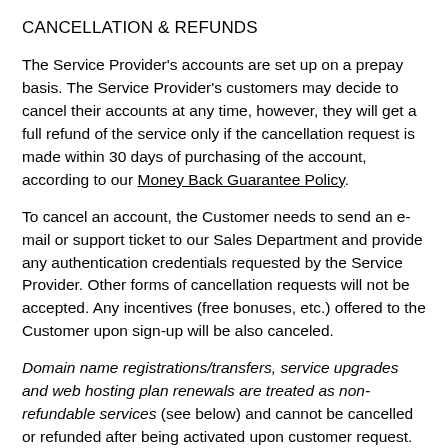CANCELLATION & REFUNDS
The Service Provider's accounts are set up on a prepay basis. The Service Provider's customers may decide to cancel their accounts at any time, however, they will get a full refund of the service only if the cancellation request is made within 30 days of purchasing of the account, according to our Money Back Guarantee Policy.
To cancel an account, the Customer needs to send an e-mail or support ticket to our Sales Department and provide any authentication credentials requested by the Service Provider. Other forms of cancellation requests will not be accepted. Any incentives (free bonuses, etc.) offered to the Customer upon sign-up will be also canceled.
Domain name registrations/transfers, service upgrades and web hosting plan renewals are treated as non-refundable services (see below) and cannot be cancelled or refunded after being activated upon customer request. The Customer will have the opportunity to transfer his/her domain away to another host.